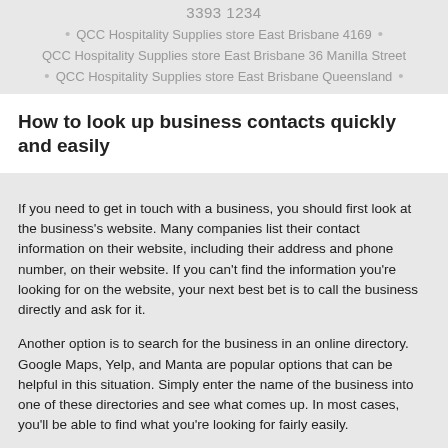3393 1234
QCC Hospitality Supplies store East Brisbane 4169
QCC Hospitality Supplies store East Brisbane 36 Manilla Street
QCC Hospitality Supplies store East Brisbane Queensland
How to look up business contacts quickly and easily
If you need to get in touch with a business, you should first look at the business's website. Many companies list their contact information on their website, including their address and phone number, on their website. If you can't find the information you're looking for on the website, your next best bet is to call the business directly and ask for it.
Another option is to search for the business in an online directory. Google Maps, Yelp, and Manta are popular options that can be helpful in this situation. Simply enter the name of the business into one of these directories and see what comes up. In most cases, you'll be able to find what you're looking for fairly easily.